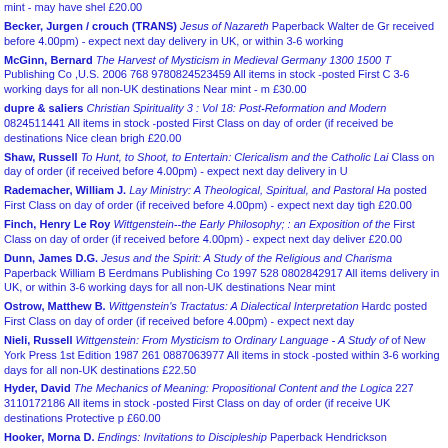mint - may have shel £20.00
Becker, Jurgen / crouch (TRANS) Jesus of Nazareth Paperback Walter de Gr... received before 4.00pm) - expect next day delivery in UK, or within 3-6 working
McGinn, Bernard The Harvest of Mysticism in Medieval Germany 1300 1500 T... Publishing Co ,U.S. 2006 768 9780824523459 All items in stock -posted First C... 3-6 working days for all non-UK destinations Near mint - m £30.00
dupre & saliers Christian Spirituality 3 : Vol 18: Post-Reformation and Modern... 0824511441 All items in stock -posted First Class on day of order (if received be... destinations Nice clean brigh £20.00
Shaw, Russell To Hunt, to Shoot, to Entertain: Clericalism and the Catholic Lai... Class on day of order (if received before 4.00pm) - expect next day delivery in U
Rademacher, William J. Lay Ministry: A Theological, Spiritual, and Pastoral Ha... posted First Class on day of order (if received before 4.00pm) - expect next day... tigh £20.00
Finch, Henry Le Roy Wittgenstein--the Early Philosophy; : an Exposition of the... First Class on day of order (if received before 4.00pm) - expect next day deliver... £20.00
Dunn, James D.G. Jesus and the Spirit: A Study of the Religious and Charisma... Paperback William B Eerdmans Publishing Co 1997 528 0802842917 All items... delivery in UK, or within 3-6 working days for all non-UK destinations Near mint
Ostrow, Matthew B. Wittgenstein's Tractatus: A Dialectical Interpretation Hardc... posted First Class on day of order (if received before 4.00pm) - expect next day
Nieli, Russell Wittgenstein: From Mysticism to Ordinary Language - A Study of... of New York Press 1st Edition 1987 261 0887063977 All items in stock -posted ... within 3-6 working days for all non-UK destinations £22.50
Hyder, David The Mechanics of Meaning: Propositional Content and the Logica... 227 3110172186 All items in stock -posted First Class on day of order (if receive... UK destinations Protective p £60.00
Hooker, Morna D. Endings: Invitations to Discipleship Paperback Hendrickson...